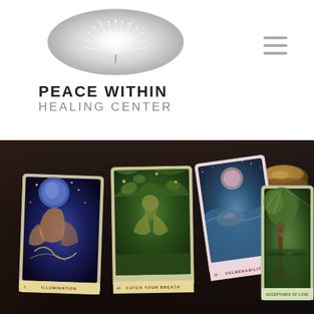[Figure (logo): Peace Within Healing Center logo with oval white/silver dandelion burst graphic]
PEACE WITHIN
HEALING CENTER
[Figure (photo): Four oracle/tarot cards laid out on a dark wood table: ILLUMINATION (blue moon/goddess), CATCH YOUR BREATH (green forest fairy), VULNERABILITY (blue ocean figures), ACCEPTANCE OF LOVE (green forest tree). A brass singing bowl is visible in the top right corner.]